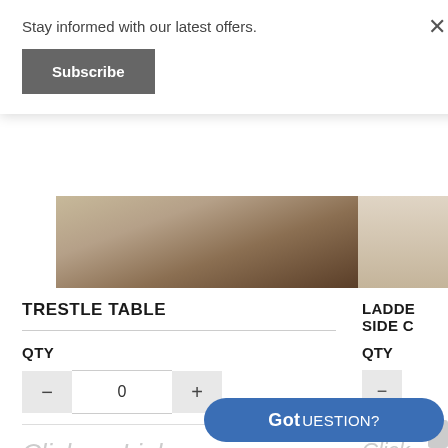Stay informed with our latest offers.
Subscribe
[Figure (photo): Product image of a rug/table on dark wood floor]
TRESTLE TABLE
QTY
0
Click on Link Below for More Info
See Details
[Figure (photo): Partial product image on right side]
LADDE SIDE C
QTY
Click Belov
Got UESTION?
Live Consultation